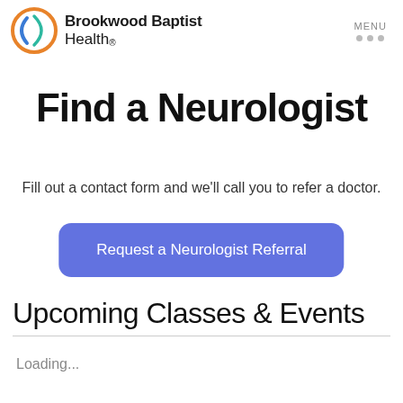Brookwood Baptist Health. MENU
Find a Neurologist
Fill out a contact form and we'll call you to refer a doctor.
Request a Neurologist Referral
Upcoming Classes & Events
Loading...